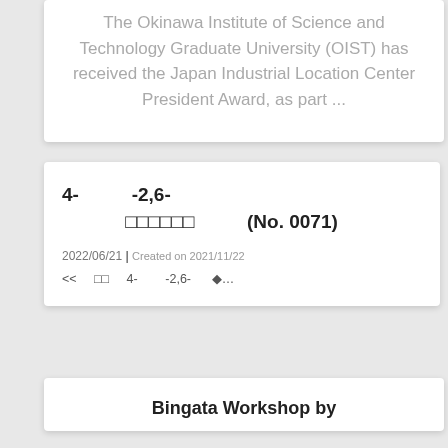The Okinawa Institute of Science and Technology Graduate University (OIST) has received the Japan Industrial Location Center President Award, as part ...
4-　　　　-2,6-　　　　　□□□□□□　　　　(No. 0071)
2022/06/21 | Created on 2021/11/22
<< 　　□□　　4-　　　　-2,6-　　　　　◆...
Bingata Workshop by